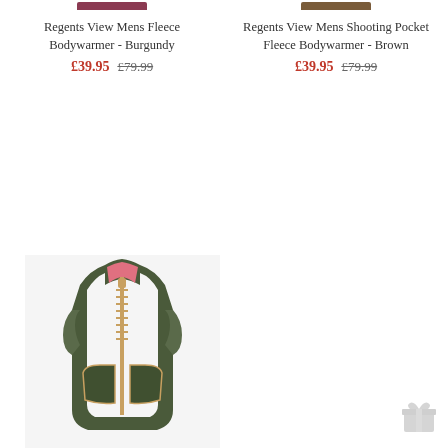[Figure (photo): Regents View Mens Fleece Bodywarmer in Burgundy - partially visible at top]
Regents View Mens Fleece Bodywarmer - Burgundy
£39.95  £79.99
[Figure (photo): Regents View Mens Shooting Pocket Fleece Bodywarmer in Brown - partially visible at top]
Regents View Mens Shooting Pocket Fleece Bodywarmer - Brown
£39.95  £79.99
[Figure (photo): Regents View Mens Shooting Pocket Fleece Bodywarmer in Olive - dark olive vest with pink/tan zipper]
Regents View Mens Shooting Pocket Fleece Bodywarmer - Olive
£39.95  £79.99